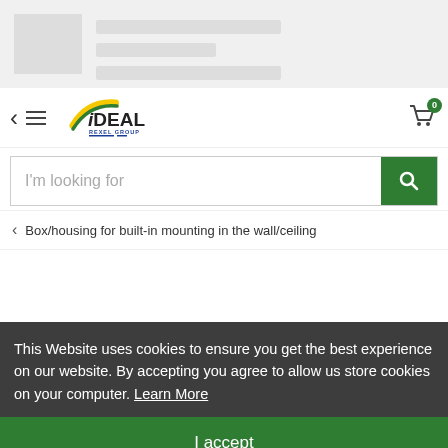[Figure (screenshot): Skeleton loading placeholder with grey box and lines on light grey background]
[Figure (logo): iDEAL Rexel Group logo with navigation back arrow, hamburger menu, and shopping cart with badge 0]
I'm looking for
Box/housing for built-in mounting in the wall/ceiling
This Website uses cookies to ensure you get the best experience on our website. By accepting you agree to allow us store cookies on your computer. Learn More
I accept